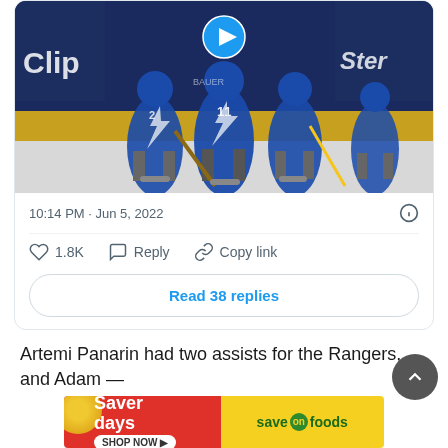[Figure (screenshot): Hockey players in blue Tampa Bay Lightning jerseys on ice rink, video thumbnail with play button overlay]
10:14 PM · Jun 5, 2022
1.8K  Reply  Copy link
Read 38 replies
Artemi Panarin had two assists for the Rangers, and Adam —
[Figure (infographic): Saver days SHOP NOW Save on foods advertisement banner]